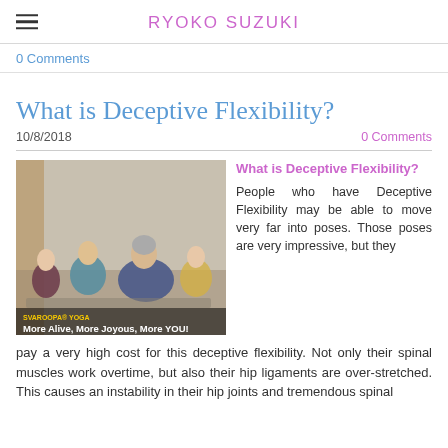RYOKO SUZUKI
0 Comments
What is Deceptive Flexibility?
10/8/2018
0 Comments
[Figure (photo): Group of people sitting cross-legged in a yoga class, smiling. Text overlay reads 'SVAROOPA® YOGA More Alive, More Joyous, More YOU!']
What is Deceptive Flexibility?
People who have Deceptive Flexibility may be able to move very far into poses. Those poses are very impressive, but they pay a very high cost for this deceptive flexibility. Not only their spinal muscles work overtime, but also their hip ligaments are over-stretched. This causes an instability in their hip joints and tremendous spinal